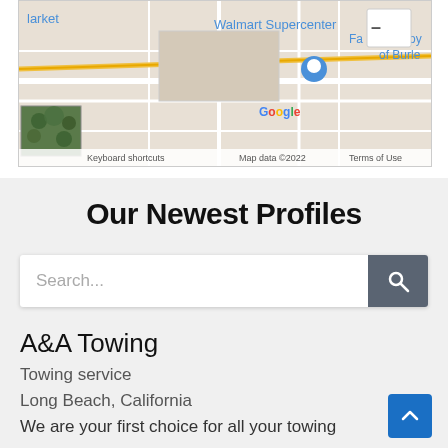[Figure (screenshot): Google Maps screenshot showing Walmart Supercenter area with street map. Labels visible: 'larket', 'Walmart Supercenter', 'Fa', 'oy', 'of Burle', Google logo, 'Keyboard shortcuts', 'Map data ©2022', 'Terms of Use'. A satellite imagery thumbnail is visible in the lower left of the map. A zoom-out button is in the upper right.]
Our Newest Profiles
Search...
A&A Towing
Towing service
Long Beach, California
We are your first choice for all your towing